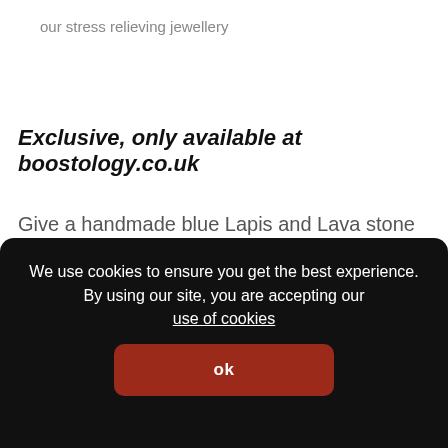our stress relieving jewellery
Exclusive, only available at boostology.co.uk
Give a handmade blue Lapis and Lava stone diffuser bracelet, to provide a little calm.
We use cookies to ensure you get the best experience. By using our site, you are accepting our use of cookies
ok
increased in this gift is one of an income stretching